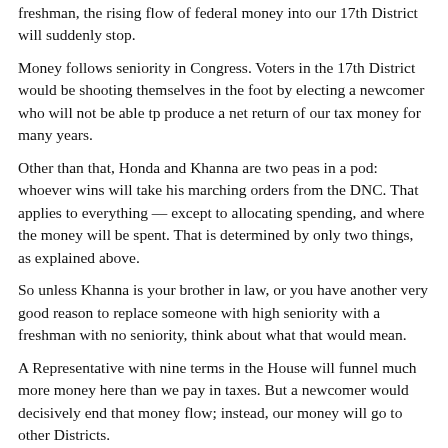freshman, the rising flow of federal money into our 17th District will suddenly stop.
Money follows seniority in Congress. Voters in the 17th District would be shooting themselves in the foot by electing a newcomer who will not be able tp produce a net return of our tax money for many years.
Other than that, Honda and Khanna are two peas in a pod: whoever wins will take his marching orders from the DNC. That applies to everything — except to allocating spending, and where the money will be spent. That is determined by only two things, as explained above.
So unless Khanna is your brother in law, or you have another very good reason to replace someone with high seniority with a freshman with no seniority, think about what that would mean.
A Representative with nine terms in the House will funnel much more money here than we pay in taxes. But a newcomer would decisively end that money flow; instead, our money will go to other Districts.